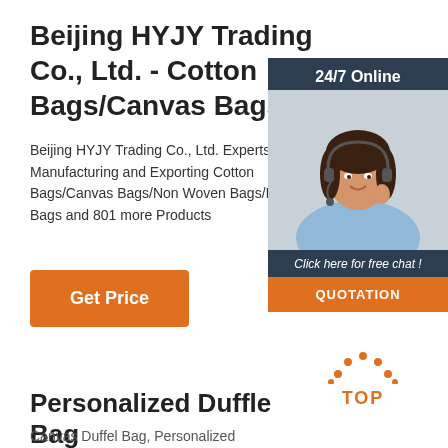Beijing HYJY Trading Co., Ltd. - Cotton Bags/Canvas Bags
Beijing HYJY Trading Co., Ltd. Experts in Manufacturing and Exporting Cotton Bags/Canvas Bags/Non Woven Bags/Insulated Bags and 801 more Products
[Figure (photo): Customer service representative with headset, 24/7 Online chat widget with dark background, 'Click here for free chat!' text and orange QUOTATION button]
[Figure (infographic): Orange dotted arc logo with TOP text in orange below it]
Personalized Duffle Bag
Canvas Duffel Bag, Personalized